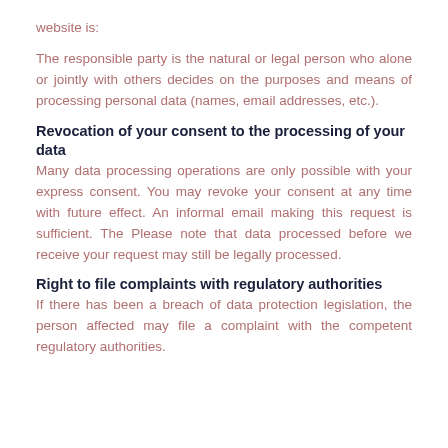website is:
The responsible party is the natural or legal person who alone or jointly with others decides on the purposes and means of processing personal data (names, email addresses, etc.).
Revocation of your consent to the processing of your data
Many data processing operations are only possible with your express consent. You may revoke your consent at any time with future effect. An informal email making this request is sufficient. The Please note that data processed before we receive your request may still be legally processed.
Right to file complaints with regulatory authorities
If there has been a breach of data protection legislation, the person affected may file a complaint with the competent regulatory authorities.